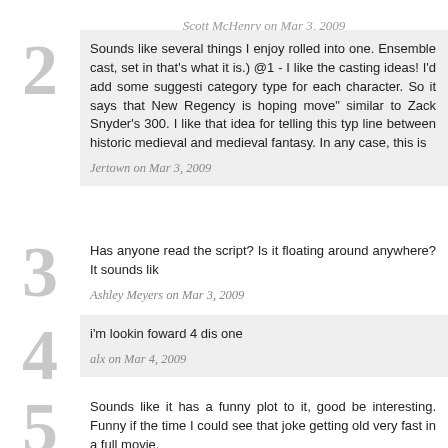Scott McHenry on Mar 3, 2009
2 Sounds like several things I enjoy rolled into one. Ensemble cast, set in that's what it is.) @1 - I like the casting ideas! I'd add some suggesti category type for each character. So it says that New Regency is hoping move" similar to Zack Snyder's 300. I like that idea for telling this typ line between historic medieval and medieval fantasy. In any case, this is
Jertown on Mar 3, 2009
3 Has anyone read the script? Is it floating around anywhere? It sounds lik
Ashley Meyers on Mar 3, 2009
4 i'm lookin foward 4 dis one
alx on Mar 4, 2009
5 Sounds like it has a funny plot to it, good be interesting. Funny if the time I could see that joke getting old very fast in a full movie.
Craig on Mar 4, 2009